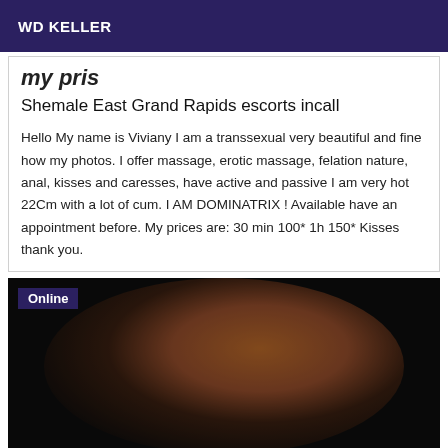WD KELLER
my pris
Shemale East Grand Rapids escorts incall
Hello My name is Viviany I am a transsexual very beautiful and fine how my photos. I offer massage, erotic massage, felation nature, anal, kisses and caresses, have active and passive I am very hot 22Cm with a lot of cum. I AM DOMINATRIX ! Available have an appointment before. My prices are: 30 min 100* 1h 150* Kisses thank you.
[Figure (photo): Photo of a person posing in black leather boots and accessories, dark background. Online badge overlay in top-left corner.]
Morena transsex